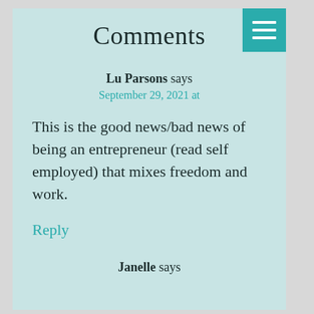Comments
Lu Parsons says
September 29, 2021 at
This is the good news/bad news of being an entrepreneur (read self employed) that mixes freedom and work.
Reply
Janelle says